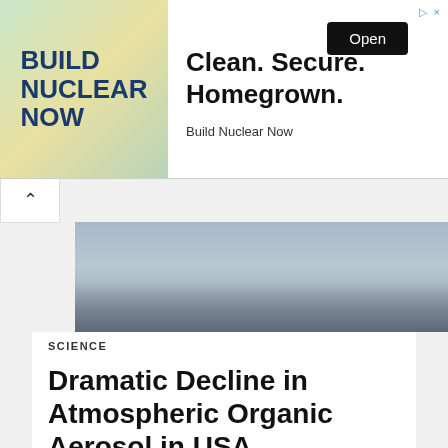[Figure (screenshot): Advertisement banner: BUILD NUCLEAR NOW with tagline 'Clean. Secure. Homegrown.' and Open button]
[Figure (photo): Hazy cityscape partially obscured by atmospheric aerosol/smog, shown in muted blue-grey tones]
SCIENCE
Dramatic Decline in Atmospheric Organic Aerosol in USA
BE THE FIRST TO COMMENT
Leave a comment